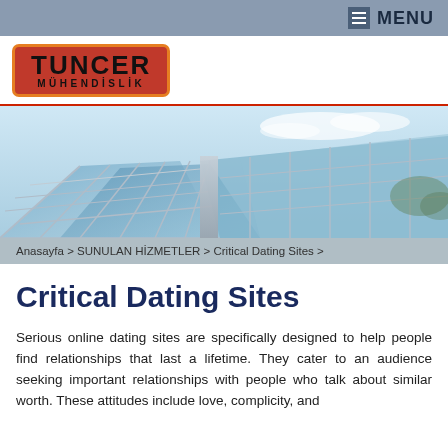MENU
[Figure (logo): Tuncer Mühendislik logo — red/orange rounded rectangle with black bold text TUNCER and smaller text MÜHENDİSLİK]
[Figure (photo): Photo of a glass and steel modern building facade shot from below at an angle, with blue sky reflection]
Anasayfa > SUNULAN HİZMETLER > Critical Dating Sites >
Critical Dating Sites
Serious online dating sites are specifically designed to help people find relationships that last a lifetime. They cater to an audience seeking important relationships with people who talk about similar worth. These attitudes include love, complicity, and